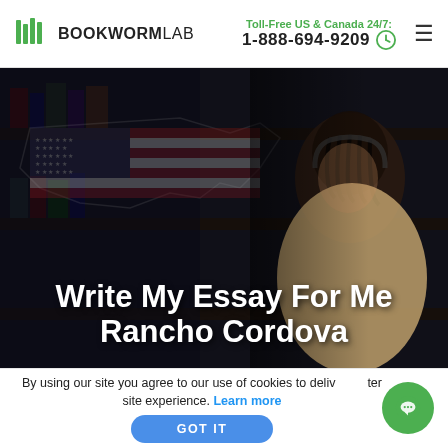BOOKWORMLAB | Toll-Free US & Canada 24/7: 1-888-694-9209
[Figure (photo): Hero image: young Black woman studying with books and headphones, overlaid with US map graphic with American flag, dark moody background]
Write My Essay For Me Rancho Cordova
By using our site you agree to our use of cookies to deliver a better site experience. Learn more
GOT IT